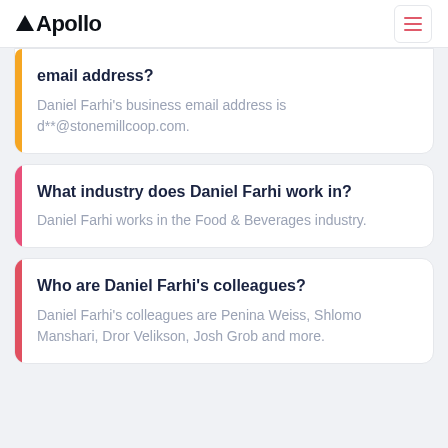Apollo
email address?
Daniel Farhi's business email address is d**@stonemillcoop.com.
What industry does Daniel Farhi work in?
Daniel Farhi works in the Food & Beverages industry.
Who are Daniel Farhi's colleagues?
Daniel Farhi's colleagues are Penina Weiss, Shlomo Manshari, Dror Velikson, Josh Grob and more.